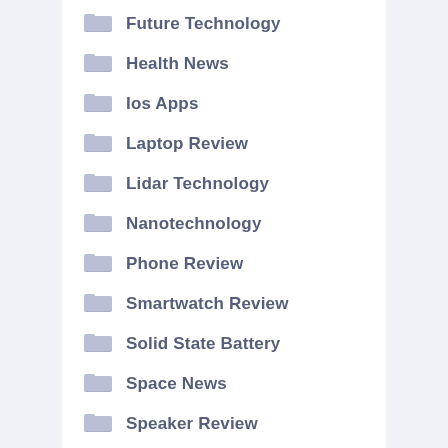Future Technology
Health News
Ios Apps
Laptop Review
Lidar Technology
Nanotechnology
Phone Review
Smartwatch Review
Solid State Battery
Space News
Speaker Review
Sustainable Energy